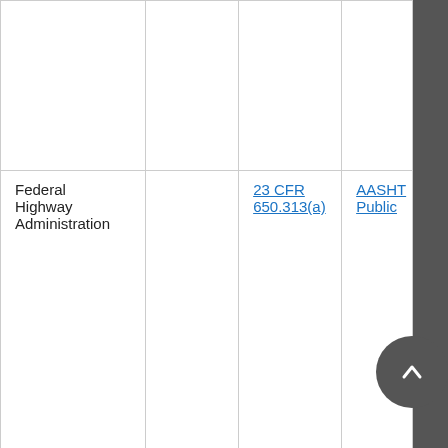|  |  |  |  |
| Federal Highway Administration |  | 23 CFR 650.313(a) | AASHT Public |
| Federal Highway Administration |  | 23 CFR 625.4(b)(5) | AASHT Public |
| Coast Guard |  | 23 CFR | AASHT |